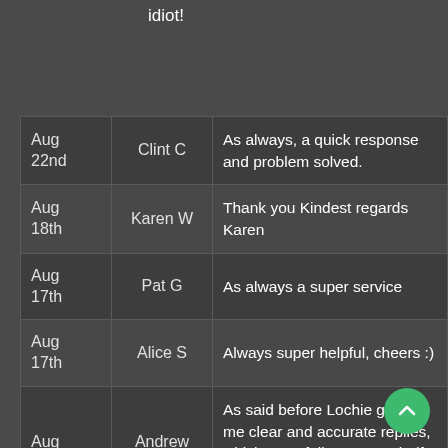idiot!
| Date | Name | Review |
| --- | --- | --- |
| Aug 22nd | Clint C | As always, a quick response and problem solved. |
| Aug 18th | Karen W | Thank you Kindest regards Karen |
| Aug 17th | Pat G | As always a super service |
| Aug 17th | Alice S | Always super helpful, cheers :) |
| Aug 15th | Andrew A | As said before Lochie gives me clear and accurate replies, which I can follow. A top shelf service from him on every occasion. |
| Aug 12th | Caroline C | Thanks so much for your help: that's fantastic! Have a great weekend. All best, Caroline |